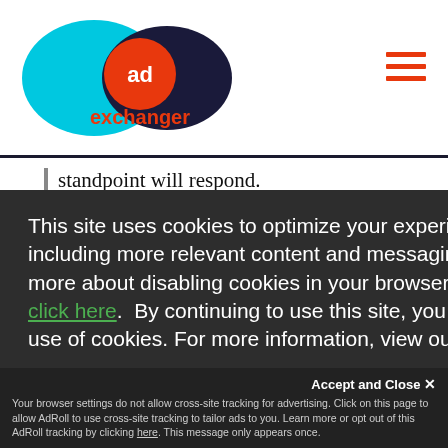[Figure (logo): AdExchanger logo with cyan and dark blue overlapping ovals and orange 'ad' circle]
standpoint will respond.
This site uses cookies to optimize your experience including more relevant content and messaging. To learn more about disabling cookies in your browser, click here.  By continuing to use this site, you accept our use of cookies. For more information, view our updated Privacy Policy.
I consent
Accept and Close ✕
Your browser settings do not allow cross-site tracking for advertising. Click on this page to allow AdRoll to use cross-site tracking to tailor ads to you. Learn more or opt out of this AdRoll tracking by clicking here. This message only appears once.